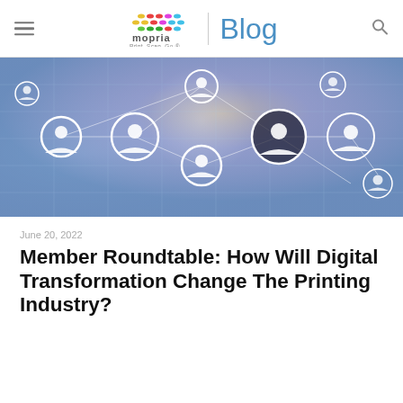mopria Blog — Print. Scan. Go.
[Figure (photo): Network connectivity illustration showing circular icons with person/user silhouettes connected by glowing lines on a blurred digital background with orange and blue tones]
June 20, 2022
Member Roundtable: How Will Digital Transformation Change The Printing Industry?